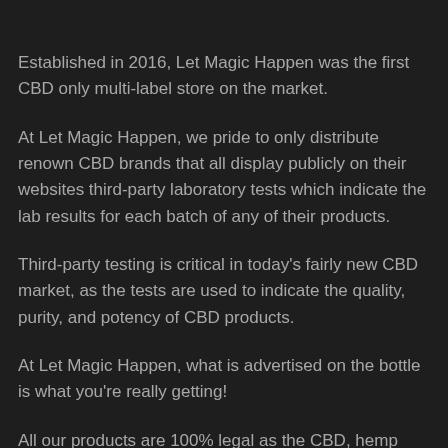Established in 2016, Let Magic Happen was the first CBD only multi-label store on the market.
At Let Magic Happen, we pride to only distribute renown CBD brands that all display publicly on their websites third-party laboratory tests which indicate the lab results for each batch of any of their products.
Third-party testing is critical in today's fairly new CBD market, as the tests are used to indicate the quality, purity, and potency of CBD products.
At Let Magic Happen, what is advertised on the bottle is what you're really getting!
All our products are 100% legal as the CBD, hemp and any product derived from hemp used